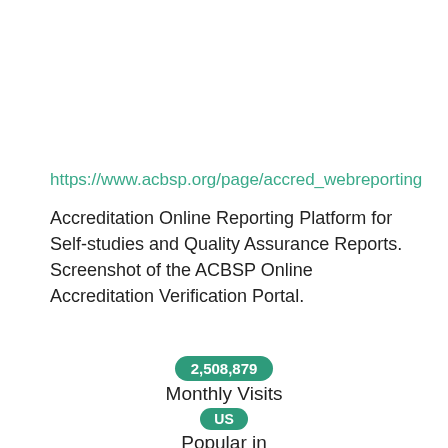https://www.acbsp.org/page/accred_webreporting
Accreditation Online Reporting Platform for Self-studies and Quality Assurance Reports. Screenshot of the ACBSP Online Accreditation Verification Portal.
2,508,879
Monthly Visits
US
Popular in
UP
Service Status